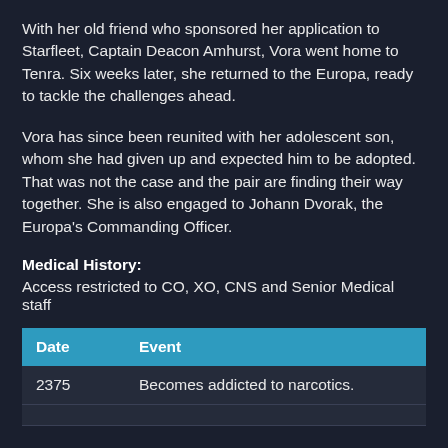With her old friend who sponsored her application to Starfleet, Captain Deacon Amhurst, Vora went home to Tenra. Six weeks later, she returned to the Europa, ready to tackle the challenges ahead.
Vora has since been reunited with her adolescent son, whom she had given up and expected him to be adopted. That was not the case and the pair are finding their way together. She is also engaged to Johann Dvorak, the Europa's Commanding Officer.
Medical History:
Access restricted to CO, XO, CNS and Senior Medical staff
| Date | Event |
| --- | --- |
| 2375 | Becomes addicted to narcotics. |
|  |  |